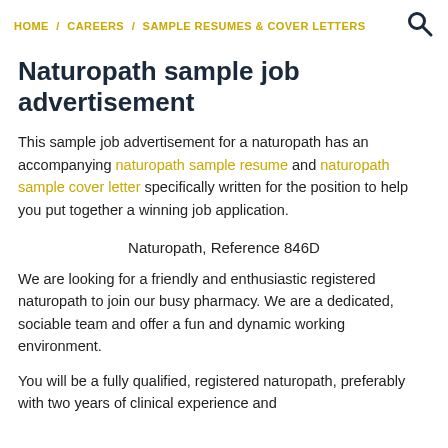HOME / CAREERS / SAMPLE RESUMES & COVER LETTERS
Naturopath sample job advertisement
This sample job advertisement for a naturopath has an accompanying naturopath sample resume and naturopath sample cover letter specifically written for the position to help you put together a winning job application.
Naturopath, Reference 846D
We are looking for a friendly and enthusiastic registered naturopath to join our busy pharmacy. We are a dedicated, sociable team and offer a fun and dynamic working environment.
You will be a fully qualified, registered naturopath, preferably with two years of clinical experience and